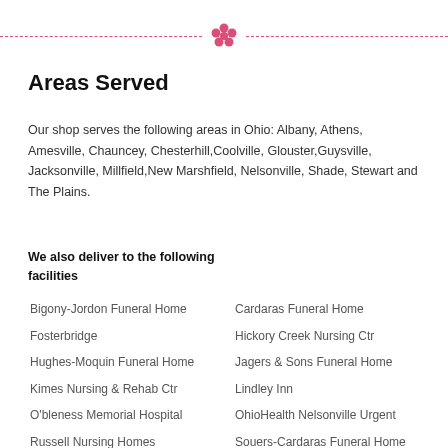— flower decoration —
Areas Served
Our shop serves the following areas in Ohio: Albany, Athens, Amesville, Chauncey, Chesterhill,Coolville, Glouster,Guysville, Jacksonville, Millfield,New Marshfield, Nelsonville, Shade, Stewart and The Plains.
We also deliver to the following facilities
Bigony-Jordon Funeral Home
Cardaras Funeral Home
Fosterbridge
Hickory Creek Nursing Ctr
Hughes-Moquin Funeral Home
Jagers & Sons Funeral Home
Kimes Nursing & Rehab Ctr
Lindley Inn
O'bleness Memorial Hospital
OhioHealth Nelsonville Urgent
Russell Nursing Homes
Souers-Cardaras Funeral Home
Southeast Psychiatric Hospital
Spreading Oaks Village